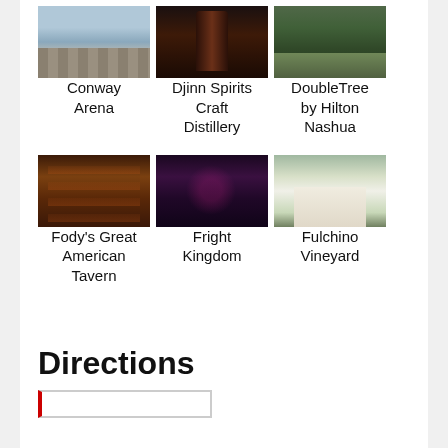[Figure (photo): Photo of Conway Arena]
[Figure (photo): Photo of Djinn Spirits Craft Distillery]
[Figure (photo): Photo of DoubleTree by Hilton Nashua]
Conway Arena
Djinn Spirits Craft Distillery
DoubleTree by Hilton Nashua
[Figure (photo): Photo of Fody's Great American Tavern interior]
[Figure (photo): Photo of Fright Kingdom]
[Figure (photo): Photo of Fulchino Vineyard]
Fody's Great American Tavern
Fright Kingdom
Fulchino Vineyard
Directions